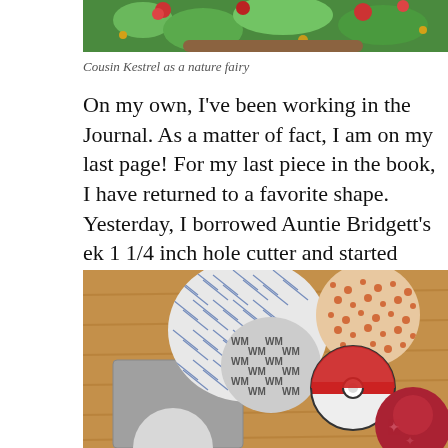[Figure (photo): Partial top view of a person dressed as a nature fairy with green and floral costume elements]
Cousin Kestrel as a nature fairy
On my own, I've been working in the Journal. As a matter of fact, I am on my last page! For my last piece in the book, I have returned to a favorite shape. Yesterday, I borrowed Auntie Bridgett's ek 1 1/4 inch hole cutter and started chopping circles out of papers in my recycling box.
[Figure (photo): Photo of paper circles cut from various recycled papers with patterns, alongside a Pokeball toy, on a wooden surface]